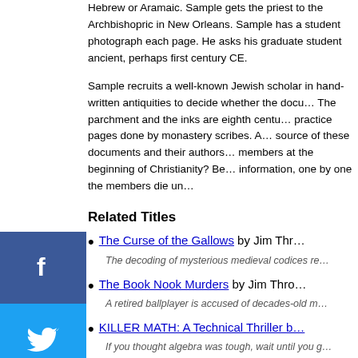Hebrew or Aramaic. Sample gets the priest to photograph each page. He asks his graduate students ancient, perhaps first century CE.
Sample recruits a well-known Jewish scholar in hand-written antiquities to decide whether the documents are real. The parchment and the inks are eighth centu... practice pages done by monastery scribes. A... source of these documents and their authors... members at the beginning of Christianity? Be... information, one by one the members die un...
Related Titles
The Curse of the Gallows by Jim Thr... The decoding of mysterious medieval codices re...
The Book Nook Murders by Jim Thro... A retired ballplayer is accused of decades-old m...
KILLER MATH: A Technical Thriller b... If you thought algebra was tough, wait until you g...